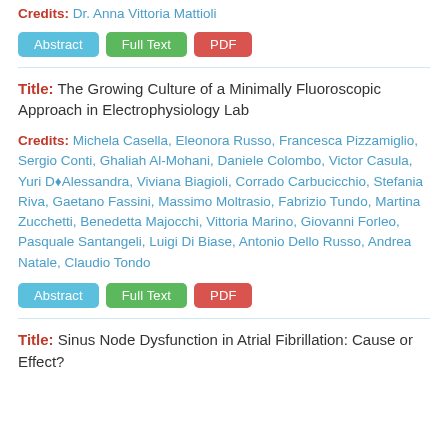Credits: Dr. Anna Vittoria Mattioli
Abstract | Full Text | PDF
Title: The Growing Culture of a Minimally Fluoroscopic Approach in Electrophysiology Lab
Credits: Michela Casella, Eleonora Russo, Francesca Pizzamiglio, Sergio Conti, Ghaliah Al-Mohani, Daniele Colombo, Victor Casula, Yuri D’Alessandra, Viviana Biagioli, Corrado Carbucicchio, Stefania Riva, Gaetano Fassini, Massimo Moltrasio, Fabrizio Tundo, Martina Zucchetti, Benedetta Majocchi, Vittoria Marino, Giovanni Forleo, Pasquale Santangeli, Luigi Di Biase, Antonio Dello Russo, Andrea Natale, Claudio Tondo
Abstract | Full Text | PDF
Title: Sinus Node Dysfunction in Atrial Fibrillation: Cause or Effect?